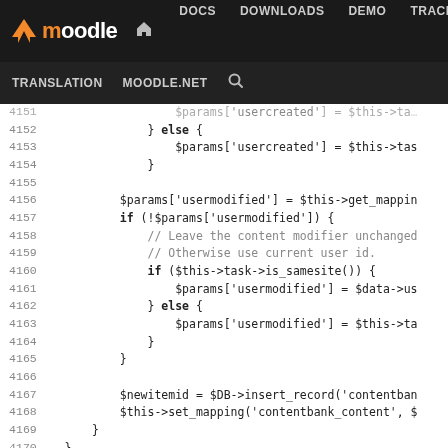moodle | DOCS DOWNLOADS DEMO TRACKER DEV | TRANSLATION MOODLE.NET
[Figure (screenshot): Moodle developer documentation website header with navigation bar showing DOCS, DOWNLOADS, DEMO, TRACKER, DEV (active/highlighted in blue) links, and a second row with TRANSLATION, MOODLE.NET, and search icon]
Code viewer showing PHP source lines 4151-4177 from Moodle contentbank restore step, including params assignment for usercreated and usermodified, DB insert_record, set_mapping, and after_execute function definition